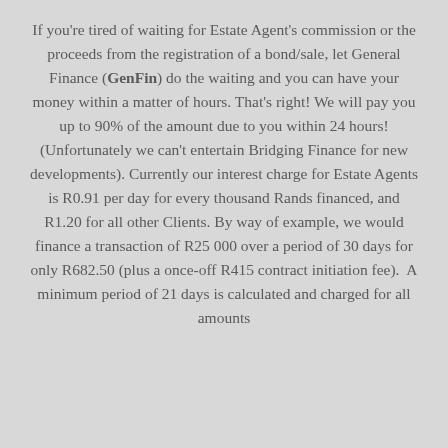If you're tired of waiting for Estate Agent's commission or the proceeds from the registration of a bond/sale, let General Finance (GenFin) do the waiting and you can have your money within a matter of hours. That's right! We will pay you up to 90% of the amount due to you within 24 hours! (Unfortunately we can't entertain Bridging Finance for new developments). Currently our interest charge for Estate Agents is R0.91 per day for every thousand Rands financed, and R1.20 for all other Clients. By way of example, we would finance a transaction of R25 000 over a period of 30 days for only R682.50 (plus a once-off R415 contract initiation fee).  A minimum period of 21 days is calculated and charged for all amounts